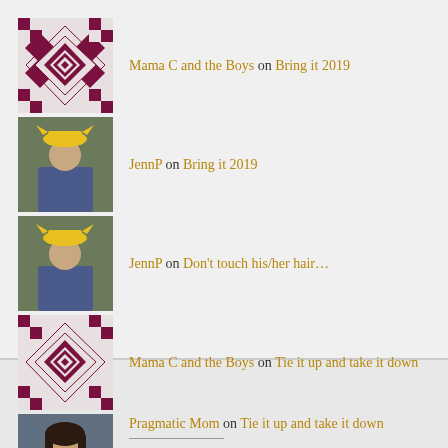Mama C and the Boys on Bring it 2019
JennP on Bring it 2019
JennP on Don't touch his/her hair...
Mama C and the Boys on Tie it up and take it down
Pragmatic Mom on Tie it up and take it down